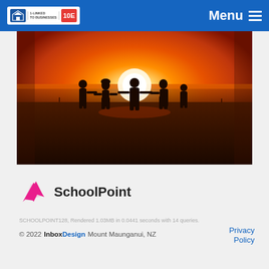Menu
[Figure (photo): Silhouettes of five people (including children and adults) standing on a beach at sunset, with an orange and red sky, holding hands.]
[Figure (logo): SchoolPoint logo: pink arrow icon pointing upper-right with 'SchoolPoint' text in dark gray.]
SCHOOLPOINT128, Rendered 1.03MB in 0.0441 seconds with 14 queries.
© 2022  InboxDesign  Mount Maunganui, NZ   Privacy Policy